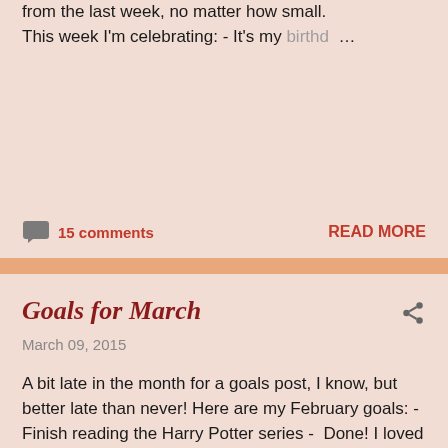from the last week, no matter how small. This week I'm celebrating: - It's my birthd …
15 comments
READ MORE
Goals for March
March 09, 2015
A bit late in the month for a goals post, I know, but better late than never! Here are my February goals: - Finish reading the Harry Potter series -  Done! I loved the re-read, like always, but it's nice to be able to read books I haven't read before. - Continue with my NaNo edits - I've done a little …
10 comments
READ MORE